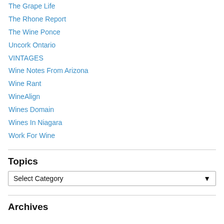The Grape Life
The Rhone Report
The Wine Ponce
Uncork Ontario
VINTAGES
Wine Notes From Arizona
Wine Rant
WineAlign
Wines Domain
Wines In Niagara
Work For Wine
Topics
Select Category
Archives